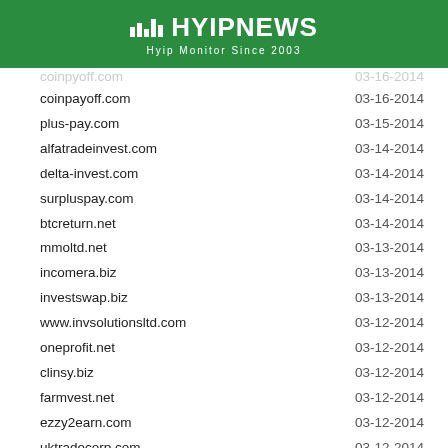[Figure (logo): HYIPNEWS logo with bar chart icon and tagline 'Hyip Monitor Since 2003' on green header bar]
| Domain | Date |
| --- | --- |
| coinpayoff.com | 03-16-2014 |
| plus-pay.com | 03-15-2014 |
| alfatradeinvest.com | 03-14-2014 |
| delta-invest.com | 03-14-2014 |
| surpluspay.com | 03-14-2014 |
| btcreturn.net | 03-14-2014 |
| mmoltd.net | 03-13-2014 |
| incomera.biz | 03-13-2014 |
| investswap.biz | 03-13-2014 |
| www.invsolutionsltd.com | 03-12-2014 |
| oneprofit.net | 03-12-2014 |
| clinsy.biz | 03-12-2014 |
| farmvest.net | 03-12-2014 |
| ezzy2earn.com | 03-12-2014 |
| uktradecorp.com | 03-12-2014 |
| luxiocapital.com | 03-11-2014 |
| world-brokers.net | 03-11-2014 |
| visiberfund.com | 03-11-2014 |
| fund-style.com | 03-11-2014 |
| global-value.biz | 03-11-2014 |
| cashcanopy.net | 03-11-2014 |